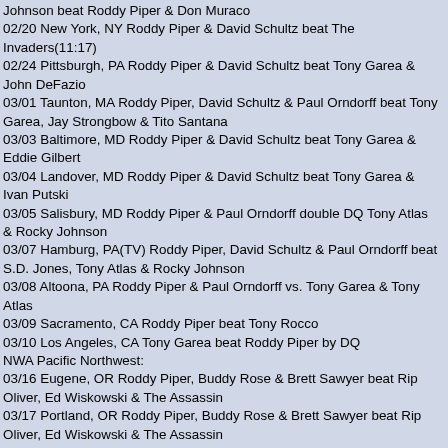Johnson beat Roddy Piper & Don Muraco
02/20 New York, NY Roddy Piper & David Schultz beat The Invaders(11:17)
02/24 Pittsburgh, PA Roddy Piper & David Schultz beat Tony Garea & John DeFazio
03/01 Taunton, MA Roddy Piper, David Schultz & Paul Orndorff beat Tony Garea, Jay Strongbow & Tito Santana
03/03 Baltimore, MD Roddy Piper & David Schultz beat Tony Garea & Eddie Gilbert
03/04 Landover, MD Roddy Piper & David Schultz beat Tony Garea & Ivan Putski
03/05 Salisbury, MD Roddy Piper & Paul Orndorff double DQ Tony Atlas & Rocky Johnson
03/07 Hamburg, PA(TV) Roddy Piper, David Schultz & Paul Orndorff beat S.D. Jones, Tony Atlas & Rocky Johnson
03/08 Altoona, PA Roddy Piper & Paul Orndorff vs. Tony Garea & Tony Atlas
03/09 Sacramento, CA Roddy Piper beat Tony Rocco
03/10 Los Angeles, CA Tony Garea beat Roddy Piper by DQ
NWA Pacific Northwest:
03/16 Eugene, OR Roddy Piper, Buddy Rose & Brett Sawyer beat Rip Oliver, Ed Wiskowski & The Assassin
03/17 Portland, OR Roddy Piper, Buddy Rose & Brett Sawyer beat Rip Oliver, Ed Wiskowski & The Assassin
03/18 Pendleton, OR Roddy Piper, Buddy Rose & Brett Sawyer beat Rip Oliver, Ed Wiskowski & The Assassin
03/21 Seattle, WA Roddy Piper, Buddy Rose & Matt Borne beat Ed Wiskowski, Rip Oliver & The Assassin
World Wrestling Federation:
03/25 New York, NY Roddy Piper & David